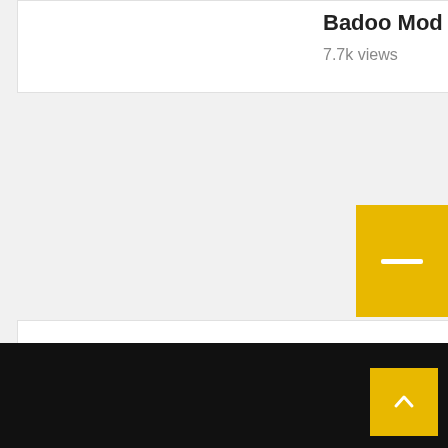Badoo Mod Apk Unlock All
7.7k views
Search Apps | Games
Search ...